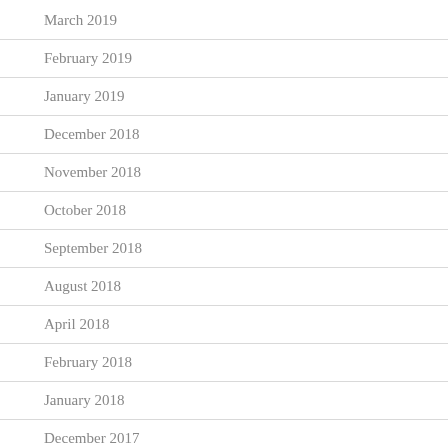March 2019
February 2019
January 2019
December 2018
November 2018
October 2018
September 2018
August 2018
April 2018
February 2018
January 2018
December 2017